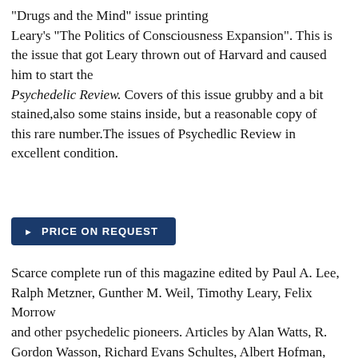"Drugs and the Mind" issue printing Leary's "The Politics of Consciousness Expansion". This is the issue that got Leary thrown out of Harvard and caused him to start the Psychedelic Review. Covers of this issue grubby and a bit stained,also some stains inside, but a reasonable copy of this rare number.The issues of Psychedlic Review in excellent condition.
▶ PRICE ON REQUEST
Scarce complete run of this magazine edited by Paul A. Lee, Ralph Metzner, Gunther M. Weil, Timothy Leary, Felix Morrow and other psychedelic pioneers. Articles by Alan Watts, R. Gordon Wasson, Richard Evans Schultes, Albert Hofman, Menri Michaux, Art Kleps, Steward Brand, René Daumal, R.D.Laing, etc. Research, influence, experiences, regulations, information on the use of LSD and other psychedelic drugs. "... The